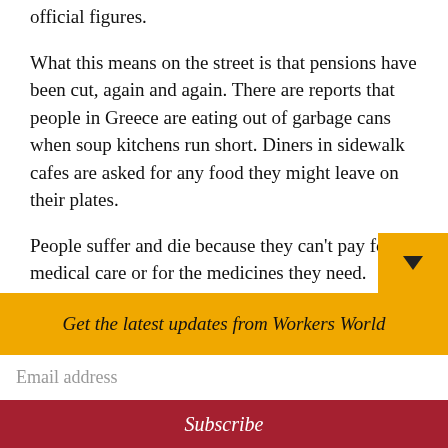official figures.
What this means on the street is that pensions have been cut, again and again. There are reports that people in Greece are eating out of garbage cans when soup kitchens run short. Diners in sidewalk cafes are asked for any food they might leave on their plates.
People suffer and die because they can't pay for medical care or for the medicines they need. Homelessness is rampant and suicid are up.
Get the latest updates from Workers World
Email address
Subscribe